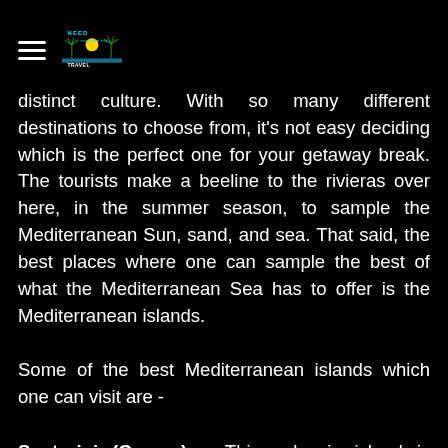NEED TO TRAVEL logo with hamburger menu
distinct culture. With so many different destinations to choose from, it's not easy deciding which is the perfect one for your getaway break. The tourists make a beeline to the rivieras over here, in the summer season, to sample the Mediterranean Sun, sand, and sea. That said, the best places where one can sample the best of what the Mediterranean Sea has to offer is the Mediterranean islands.
Some of the best Mediterranean islands which one can visit are -
Santorini (Greece) – This volcanic island is world-famous for its black sand beaches, white houses, blue domes, bazaars, blue sea, etc. It is a place where you